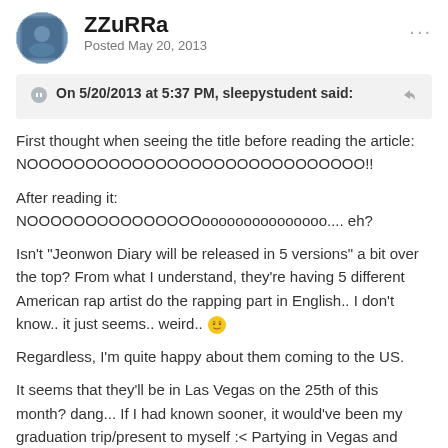ZZuRRa
Posted May 20, 2013
On 5/20/2013 at 5:37 PM, sleepystudent said:
First thought when seeing the title before reading the article: NOOOOOOOOOOOOOOOOOOOOOOOOOOOOO!!

After reading it: NOOOOOOOOOOOOOOOooooooooooooooo.... eh?

Isn't "Jeonwon Diary will be released in 5 versions" a bit over the top? From what I understand, they're having 5 different American rap artist do the rapping part in English.. I don't know.. it just seems.. weird.. 🤔

Regardless, I'm quite happy about them coming to the US.

It seems that they'll be in Las Vegas on the 25th of this month? dang... If I had known sooner, it would've been my graduation trip/present to myself :< Partying in Vegas and meeting T-ara.,. two birds with one stone!